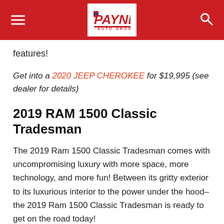[Figure (logo): Payne Auto Group logo in white box centered on red header bar, with hamburger menu icon on left and search icon on right]
features!
Get into a 2020 JEEP CHEROKEE for $19,995 (see dealer for details)
2019 RAM 1500 Classic Tradesman
The 2019 Ram 1500 Classic Tradesman comes with uncompromising luxury with more space, more technology, and more fun! Between its gritty exterior to its luxurious interior to the power under the hood–the 2019 Ram 1500 Classic Tradesman is ready to get on the road today!
Get into a 2019 RAM 1500 Classic Tradesman for $23,995 (see dealer for details)